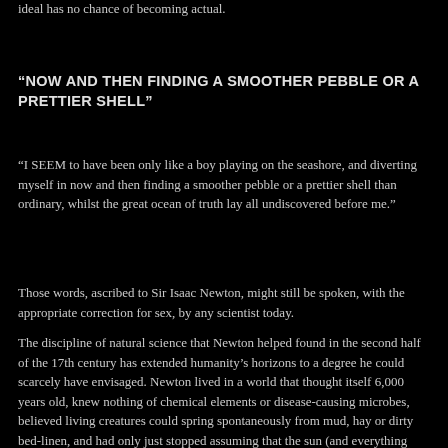ideal has no chance of becoming actual.
“NOW AND THEN FINDING A SMOOTHER PEBBLE OR A PRETTIER SHELL”
“I SEEM to have been only like a boy playing on the seashore, and diverting myself in now and then finding a smoother pebble or a prettier shell than ordinary, whilst the great ocean of truth lay all undiscovered before me.”
Those words, ascribed to Sir Isaac Newton, might still be spoken, with the appropriate correction for sex, by any scientist today.
The discipline of natural science that Newton helped found in the second half of the 17th century has extended humanity’s horizons to a degree he could scarcely have envisaged. Newton lived in a world that thought itself 6,000 years old, knew nothing of chemical elements or disease-causing microbes, believed living creatures could spring spontaneously from mud, hay or dirty bed-linen, and had only just stopped assuming that the sun (and everything else in the universe) revolved around the Earth.